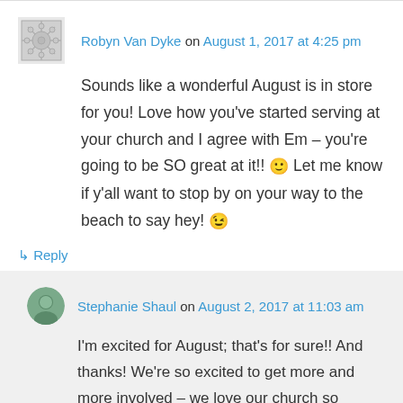Robyn Van Dyke on August 1, 2017 at 4:25 pm
Sounds like a wonderful August is in store for you! Love how you've started serving at your church and I agree with Em – you're going to be SO great at it!! 🙂 Let me know if y'all want to stop by on your way to the beach to say hey! 😉
↳ Reply
Stephanie Shaul on August 2, 2017 at 11:03 am
I'm excited for August; that's for sure!! And thanks! We're so excited to get more and more involved – we love our church so